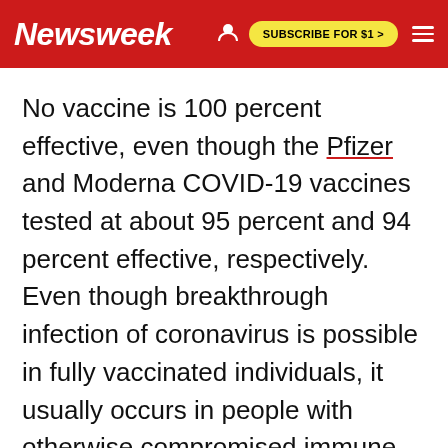Newsweek  SUBSCRIBE FOR $1 >
No vaccine is 100 percent effective, even though the Pfizer and Moderna COVID-19 vaccines tested at about 95 percent and 94 percent effective, respectively. Even though breakthrough infection of coronavirus is possible in fully vaccinated individuals, it usually occurs in people with otherwise compromised immune systems. The vaccines are very effective at preventing serious illness and death.